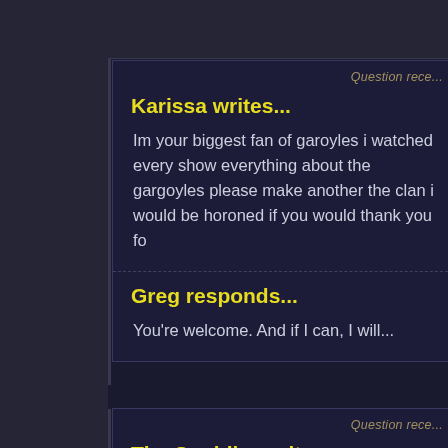Question rece...
Karissa writes...
Im your biggest fan of garoyles i watched every show everything about the gargoyles please make another the clan i would be horoned if you would thank you fo
Greg responds...
You're welcome. And if I can, I will...
Question rece...
The Souldier writes...
Where was Fox when she got the tatoo(tattoo, i can't I'm just a stinker for rephrasing questions in ways tha response to. I'm the one that killed the "marks on har